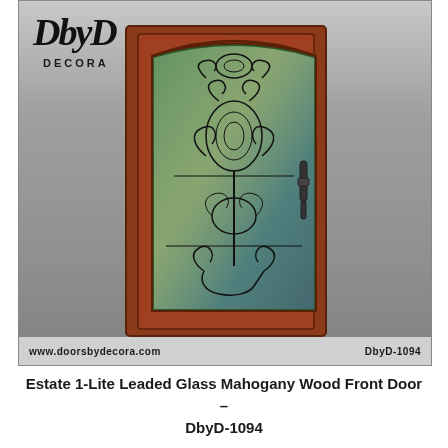[Figure (photo): Product photo of a mahogany wood front door with Estate 1-Lite leaded stained glass insert featuring ornate decorative ironwork pattern. The door has a warm cherry/mahogany finish with an arched glass panel and black hardware handle on the right side. The photo has a gray gradient background with the DbyD Decora logo in the upper left, website URL 'www.doorsbydecora.com' and model number 'DbyD-1094' in the bottom bar.]
Estate 1-Lite Leaded Glass Mahogany Wood Front Door – DbyD-1094